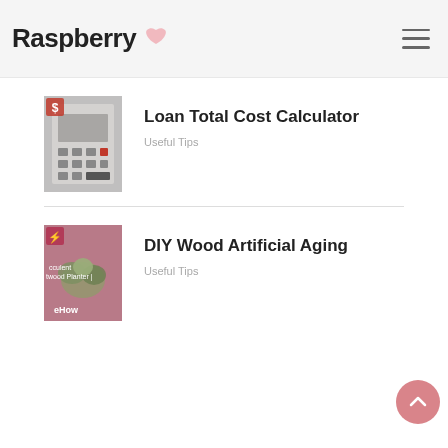Raspberry
[Figure (photo): Thumbnail image of a calculator and financial documents for Loan Total Cost Calculator article]
Loan Total Cost Calculator
Useful Tips
[Figure (photo): Thumbnail image of succulent driftwood planter from eHow for DIY Wood Artificial Aging article]
DIY Wood Artificial Aging
Useful Tips